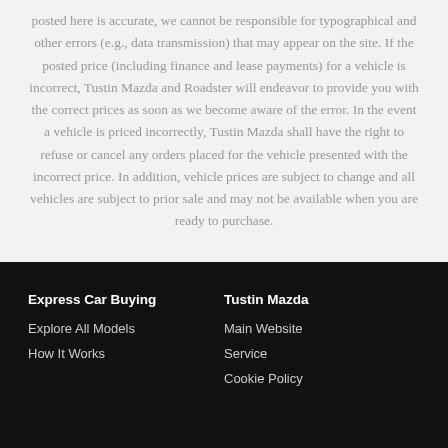posted here is accurate, we cannot be responsible for typographical and other errors (e.g., data transmission) that may appear on the site. If the posted price (including finance and lease payments) for a vehicle is incorrect, Tustin Mazda and Roadster will endeavor to provide you with the correct prices as soon as we become aware of the error. In the event a vehicle is priced incorrectly, Tustin Mazda shall have the right to refuse or cancel any orders placed for the vehicle presented with the incorrect price. In addition, vehicle prices are subject to change and all vehicles are subject to prior sale and may not be available when you are ready to purchase.
Express Car Buying | Explore All Models | How It Works | Tustin Mazda | Main Website | Service | Cookie Policy